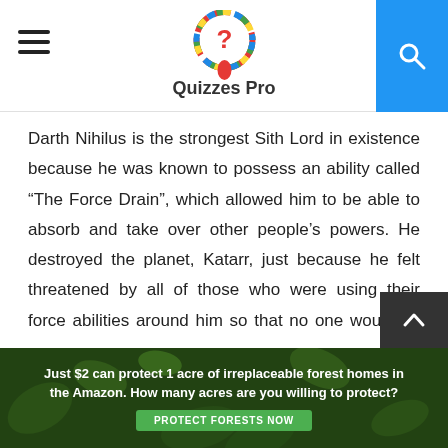Quizzes Pro
Darth Nihilus is the strongest Sith Lord in existence because he was known to possess an ability called “The Force Drain”, which allowed him to be able to absorb and take over other people’s powers. He destroyed the planet, Katarr, just because he felt threatened by all of those who were using their force abilities around him so that no one would be able to use them against him. He also killed Jedi Master Visas Marr who had come to save the planet from his destruction, but he was too strong for her and defeated her in battle very quickly by ripping all of the force abilities out of people’s bodies using only a touch on their skin. He is not strongest in terms of lightsaber combat, but he is strongest in
[Figure (infographic): Advertisement banner: Just $2 can protect 1 acre of irreplaceable forest homes in the Amazon. How many acres are you willing to protect? PROTECT FORESTS NOW button on dark green forest background.]